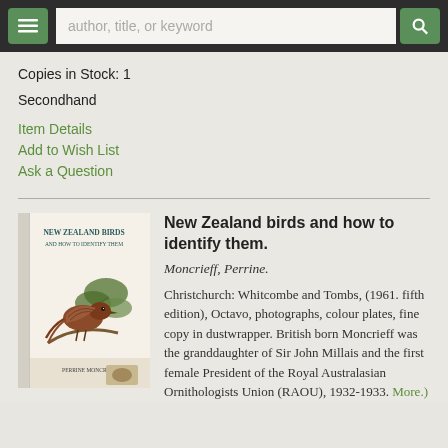author, title, or keyword
Copies in Stock: 1
Secondhand
Item Details
Add to Wish List
Ask a Question
New Zealand birds and how to identify them.
Moncrieff, Perrine.
[Figure (photo): Book cover of 'New Zealand Birds and How to Identify Them' showing a brown bird on a branch with foliage]
Christchurch: Whitcombe and Tombs, (1961. fifth edition), Octavo, photographs, colour plates, fine copy in dustwrapper. British born Moncrieff was the granddaughter of Sir John Millais and the first female President of the Royal Australasian Ornithologists Union (RAOU), 1932-1933. More.)